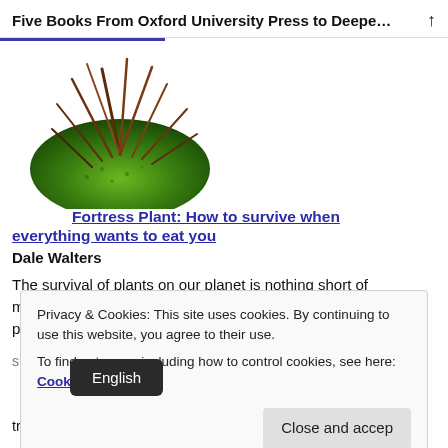Five Books From Oxford University Press to Deepen ...
[Figure (photo): Close-up photo of a spiky green plant with thorns on a white background]
Fortress Plant: How to survive when everything wants to eat you
Dale Walters
The survival of plants on our planet is nothing short of miraculous. They are virtually stationary packages of food, providing
Privacy & Cookies: This site uses cookies. By continuing to use this website, you agree to their use. To find out more, including how to control cookies, see here: Cookie Policy
tragi ours depends on plants. In Fortress Plant, Dale